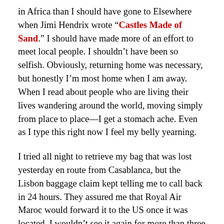in Africa than I should have gone to Elsewhere when Jimi Hendrix wrote "Castles Made of Sand." I should have made more of an effort to meet local people. I shouldn't have been so selfish. Obviously, returning home was necessary, but honestly I'm most home when I am away. When I read about people who are living their lives wandering around the world, moving simply from place to place—I get a stomach ache. Even as I type this right now I feel my belly yearning.
I tried all night to retrieve my bag that was lost yesterday en route from Casablanca, but the Lisbon baggage claim kept telling me to call back in 24 hours. They assured me that Royal Air Maroc would forward it to the US once it was located. I wouldn't see it again for more than three weeks, during which time I got one call from the airline telling me that my bag was in Miami and I could pick it up there.